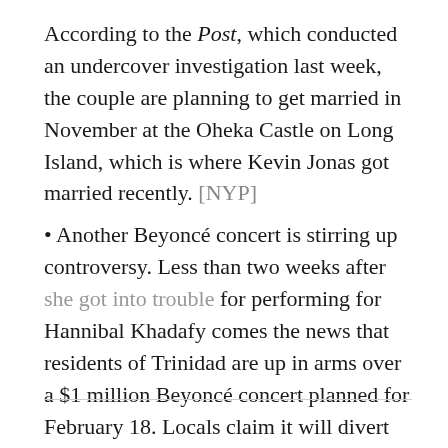According to the Post, which conducted an undercover investigation last week, the couple are planning to get married in November at the Oheka Castle on Long Island, which is where Kevin Jonas got married recently. [NYP]
• Another Beyoncé concert is stirring up controversy. Less than two weeks after she got into trouble for performing for Hannibal Khadafy comes the news that residents of Trinidad are up in arms over a $1 million Beyoncé concert planned for February 18. Locals claim it will divert from the country's annual Carnival celebration. [Sun]